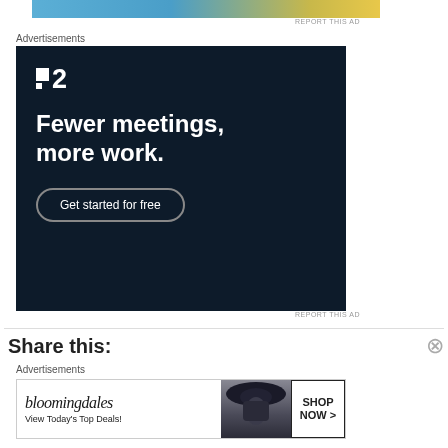[Figure (other): Top banner ad strip with blue and yellow gradient colors]
REPORT THIS AD
Advertisements
[Figure (other): P2 software advertisement on dark navy background. Logo shows two squares and number 2. Text reads: Fewer meetings, more work. Button: Get started for free]
REPORT THIS AD
Share this:
Advertisements
[Figure (other): Bloomingdales advertisement. Logo text: bloomingdales. Subtext: View Today's Top Deals! Image of woman in hat. Button: SHOP NOW >]